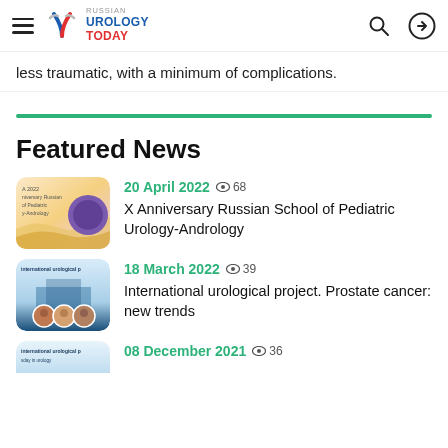Russian Urology Today
less traumatic, with a minimum of complications.
Featured News
[Figure (photo): Thumbnail for X Anniversary Russian School of Pediatric Urology-Andrology event]
20 April 2022  68
X Anniversary Russian School of Pediatric Urology-Andrology
[Figure (photo): Thumbnail for International urological project event with speaker portraits]
18 March 2022  39
International urological project. Prostate cancer: new trends
[Figure (photo): Partial thumbnail for third news item]
08 December 2021  36